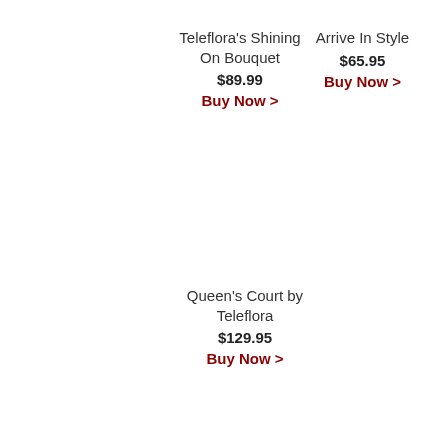Teleflora's Shining On Bouquet
$89.99
Buy Now >
Arrive In Style
$65.95
Buy Now >
Queen's Court by Teleflora
$129.95
Buy Now >